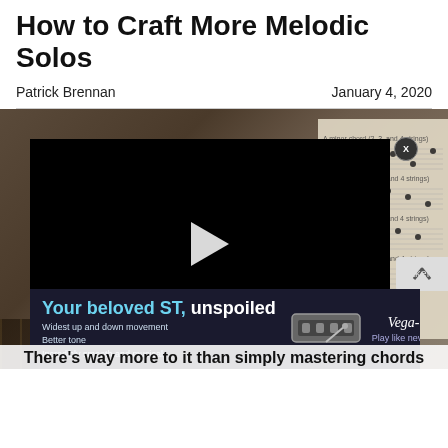How to Craft More Melodic Solos
Patrick Brennan		January 4, 2020
[Figure (photo): A photo background showing guitar equipment, sheet music on the right, and a guitar fretboard at bottom. A video player overlay is displayed in the center showing a black screen with a play button. An advertisement banner at the bottom reads 'Your beloved ST, unspoiled' for Vega-Trem product.]
There's way more to it than simply mastering chords